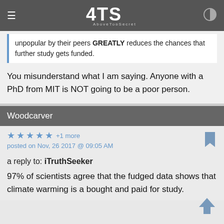ATS AboveTopSecret
unpopular by their peers GREATLY reduces the chances that further study gets funded.
You misunderstand what I am saying. Anyone with a PhD from MIT is NOT going to be a poor person.
Woodcarver
★ ★ ★ ★ ★ +1 more
posted on Nov, 26 2017 @ 09:05 AM
a reply to: iTruthSeeker
97% of scientists agree that the fudged data shows that climate warming is a bought and paid for study.